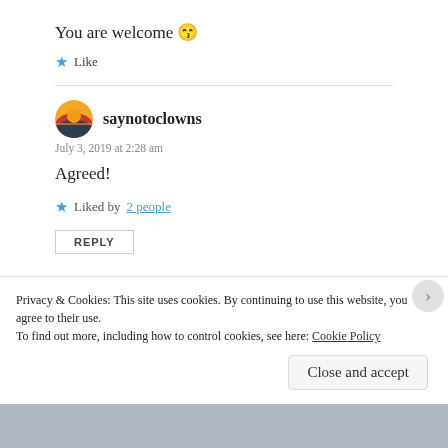You are welcome 😊
★ Like
saynotoclowns
July 3, 2019 at 2:28 am
Agreed!
★ Liked by 2 people
REPLY
Privacy & Cookies: This site uses cookies. By continuing to use this website, you agree to their use.
To find out more, including how to control cookies, see here: Cookie Policy
Close and accept